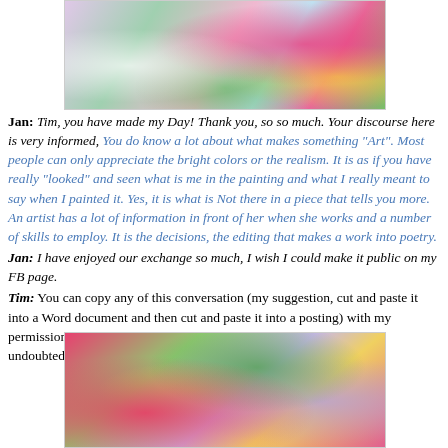[Figure (illustration): Colorful floral painting detail showing pink, white, and green flowers with bold outlines, top of page]
Jan: Tim, you have made my Day! Thank you, so so much. Your discourse here is very informed, You do know a lot about what makes something "Art". Most people can only appreciate the bright colors or the realism. It is as if you have really "looked" and seen what is me in the painting and what I really meant to say when I painted it. Yes, it is what is Not there in a piece that tells you more. An artist has a lot of information in front of her when she works and a number of skills to employ. It is the decisions, the editing that makes a work into poetry.
Jan: I have enjoyed our exchange so much, I wish I could make it public on my FB page.
Tim: You can copy any of this conversation (my suggestion, cut and paste it into a Word document and then cut and paste it into a posting) with my permission. I only made this private but now it is your choice. It will undoubtedly generate more comments.
[Figure (illustration): Colorful floral painting detail showing vivid pink, green, yellow and lavender flowers with bold outlines, bottom of page]